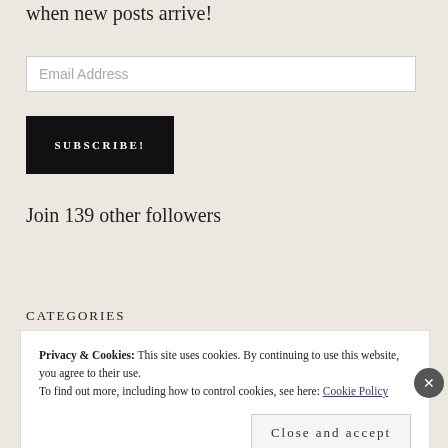when new posts arrive!
Email Address
SUBSCRIBE!
Join 139 other followers
CATEGORIES
Privacy & Cookies: This site uses cookies. By continuing to use this website, you agree to their use.
To find out more, including how to control cookies, see here: Cookie Policy
Close and accept
Advertisements